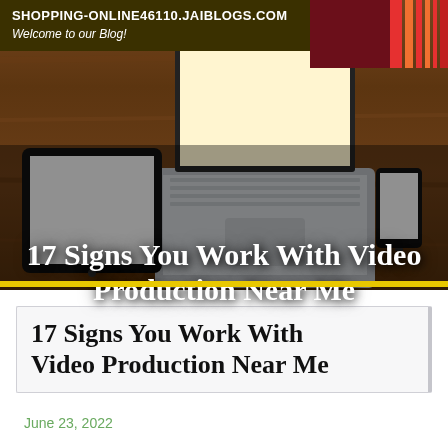SHOPPING-ONLINE46110.JAIBLOGS.COM
Welcome to our Blog!
[Figure (photo): Photo of a laptop, tablet, and smartphone on a wooden desk/table surface, shot from above-front angle showing screens]
17 Signs You Work With Video Production Near Me
17 Signs You Work With Video Production Near Me
June 23, 2022